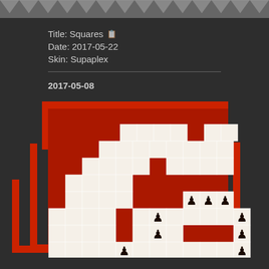Title: Squares
Date: 2017-05-22
Skin: Supaplex
2017-05-08
[Figure (illustration): A chess puzzle board showing a 'Squares' themed puzzle with red and white square-pattern borders forming nested square frames, with chess pawns placed on the board. The board has a decorative red pixel-art style border with white grid squares inside. Several dark pawns are visible on beige/tan colored squares in the lower portion of the board.]